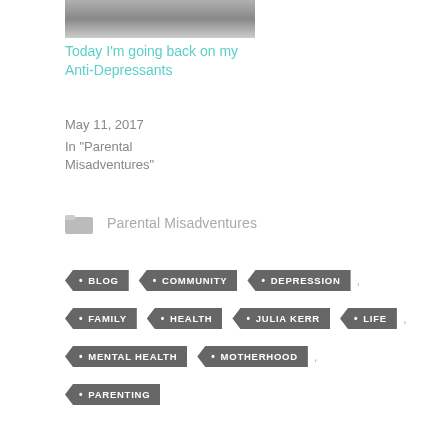[Figure (photo): Partial grayscale photo of a person]
Today I'm going back on my Anti-Depressants
May 11, 2017
In "Parental Misadventures"
Parental Misadventures
BLOG
COMMUNITY
DEPRESSION
FAMILY
HEALTH
JULIA KERR
LIFE
MENTAL HEALTH
MOTHERHOOD
PARENTING